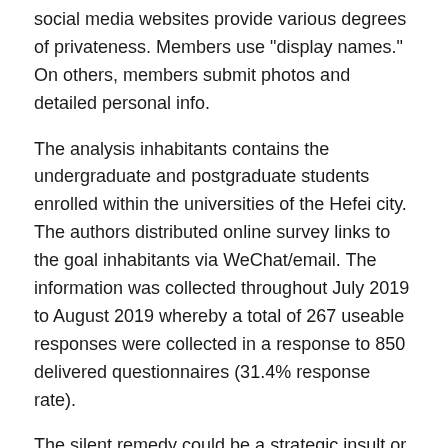social media websites provide various degrees of privateness. Members use "display names." On others, members submit photos and detailed personal info.
The analysis inhabitants contains the undergraduate and postgraduate students enrolled within the universities of the Hefei city. The authors distributed online survey links to the goal inhabitants via WeChat/email. The information was collected throughout July 2019 to August 2019 whereby a total of 267 useable responses were collected in a response to 850 delivered questionnaires (31.4% response rate).
The silent remedy could be a strategic insult or simply the unlucky facet impact of an internet adolescent relationship that starts out intensely however then fades away. “You hope to teach them that they can disagree without jeopardizing the relationship, but what social media is teaching them to do is disagree in methods which are more excessive and do jeopardize the connection. It’s exactly what you don’t need to have happen,” she says. Sprout Social helps you perceive and